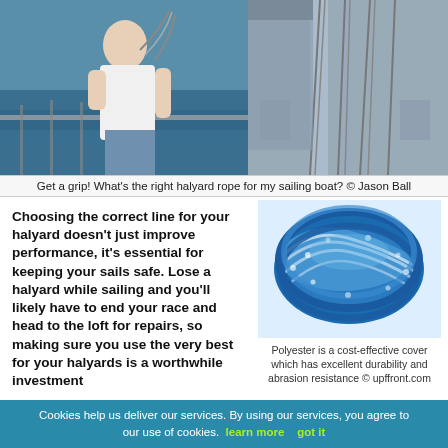[Figure (photo): Sailor on a sailing boat handling ropes/halyards at the mast, with water and rigging in background]
Get a grip! What's the right halyard rope for my sailing boat? © Jason Ball
Choosing the correct line for your halyard doesn't just improve performance, it's essential for keeping your sails safe. Lose a halyard while sailing and you'll likely have to end your race and head to the loft for repairs, so making sure you use the very best for your halyards is a worthwhile investment
[Figure (photo): Blue and white braided polyester rope coiled up close-up]
Polyester is a cost-effective cover which has excellent durability and abrasion resistance © upffront.com
[Figure (photo): Another rope photo at the bottom right]
Cookies help us deliver our services. By using our services, you agree to our use of cookies. learn more   got it